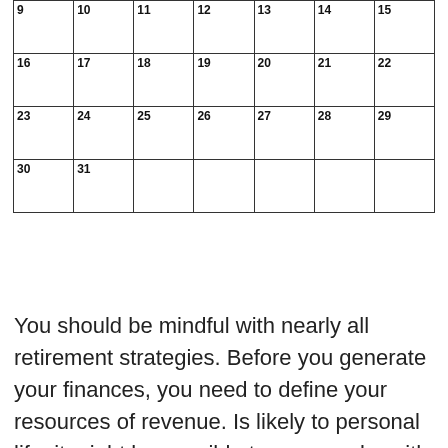| 9 | 10 | 11 | 12 | 13 | 14 | 15 |
| 16 | 17 | 18 | 19 | 20 | 21 | 22 |
| 23 | 24 | 25 | 26 | 27 | 28 | 29 |
| 30 | 31 |  |  |  |  |  |
You should be mindful with nearly all retirement strategies. Before you generate your finances, you need to define your resources of revenue. Is likely to personal life, it might be possible to possess by with out a budget, however in your company, this is a recipe for personal bankruptcy. Once you surface finish your budget, desire to is for this to balance. Within my present school, there is a budget placed per teacher yearly. The defined profit program may be the best